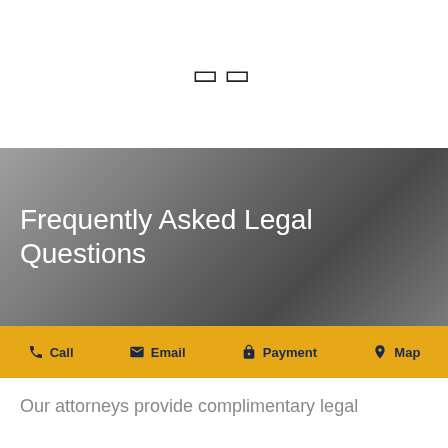[Figure (illustration): Two small square bracket/box icons centered in white space at top]
Frequently Asked Legal Questions
[Figure (infographic): Yellow navigation bar with four items: Call (phone icon), Email (envelope icon), Payment (lock icon), Map (pin icon)]
Our attorneys provide complimentary legal